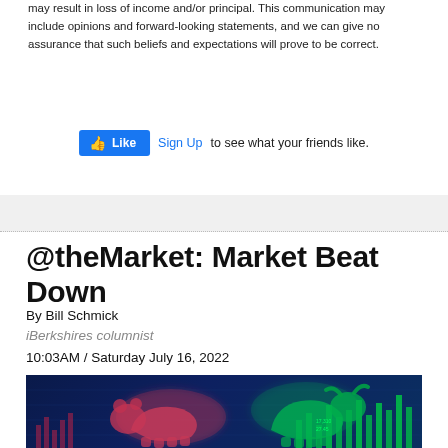may result in loss of income and/or principal. This communication may include opinions and forward-looking statements, and we can give no assurance that such beliefs and expectations will prove to be correct.
[Figure (other): Facebook Like button widget with 'Sign Up to see what your friends like.' text]
[Figure (other): Gray separator band with dotted bottom border]
@theMarket: Market Beat Down
By Bill Schmick
iBerkshires columnist
10:03AM / Saturday July 16, 2022
[Figure (photo): Stock market bull and bear illustration: a red/pink glowing bear on the left facing down and a green glowing bull on the right, set against a dark blue financial chart background with green candlestick bars.]